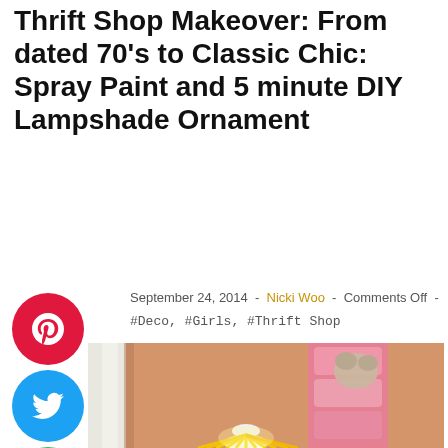Thrift Shop Makeover: From dated 70's to Classic Chic: Spray Paint and 5 minute DIY Lampshade Ornament
September 24, 2014  -  Nicki Woo  -  Comments Off  -
#Deco, #Girls, #Thrift Shop
[Figure (photo): Photo of a lamp with bright yellow light rays emanating from a white lampshade, placed in a room corner with orange walls, white curtains on the left, and a pink storage organizer with stuffed animals on the right.]